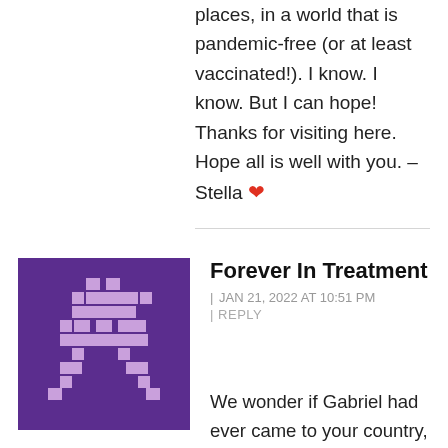places, in a world that is pandemic-free (or at least vaccinated!). I know. I know. But I can hope! Thanks for visiting here. Hope all is well with you. –Stella ❤
Forever In Treatment
| JAN 21, 2022 AT 10:51 PM
| REPLY
[Figure (illustration): Purple square avatar with a pixel-art space invader character in lighter purple/pink]
We wonder if Gabriel had ever came to your country, Nora.